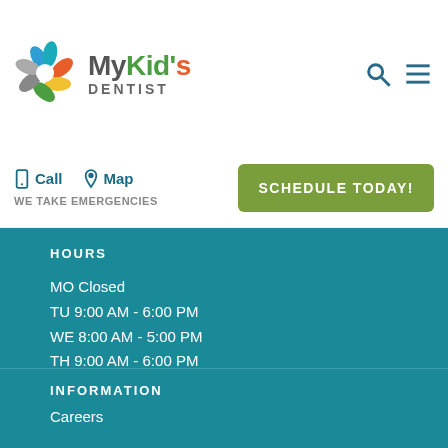[Figure (logo): MyKid's Dentist logo with colorful pinwheel/tooth icon and stylized text]
Call  Map  WE TAKE EMERGENCIES
SCHEDULE TODAY!
HOURS
MO Closed
TU 9:00 AM - 6:00 PM
WE 8:00 AM - 5:00 PM
TH 9:00 AM - 6:00 PM
FR Closed
SA Closed
SU Closed
INFORMATION
Careers